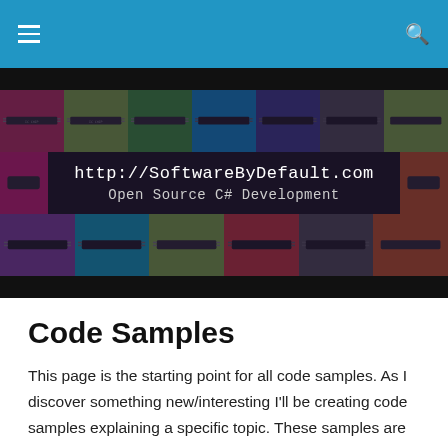Navigation bar with hamburger menu and search icon
[Figure (photo): Colorful banner with IC chips on colored backgrounds and overlay text: http://SoftwareByDefault.com Open Source C# Development]
Code Samples
This page is the starting point for all code samples. As I discover something new/interesting I'll be creating code samples explaining a specific topic. These samples are not intended to be full on applications, but rather components that can be used in applications. If you would like me to create a code sample on a specific topic please